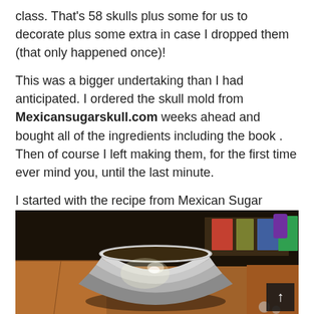class. That's 58 skulls plus some for us to decorate plus some extra in case I dropped them (that only happened once)!
This was a bigger undertaking than I had anticipated. I ordered the skull mold from Mexicansugarskull.com weeks ahead and bought all of the ingredients including the book . Then of course I left making them, for the first time ever mind you, until the last minute.
I started with the recipe from Mexican Sugar Skulls, which was  10 pounds of sugar, a half cup of Meringue, and 7 tablespoons of water.
[Figure (photo): A large stainless steel mixing bowl sitting on cardboard on a table, with various items in the background including books, a purple cup, and other supplies.]